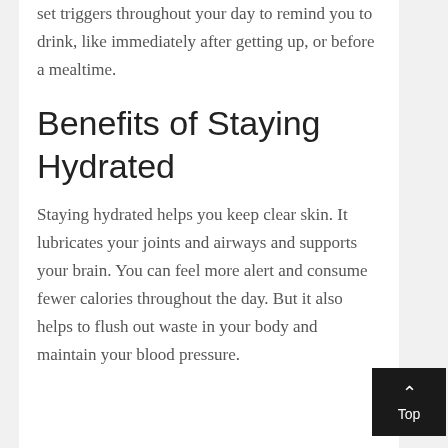set triggers throughout your day to remind you to drink, like immediately after getting up, or before a mealtime.
Benefits of Staying Hydrated
Staying hydrated helps you keep clear skin. It lubricates your joints and airways and supports your brain. You can feel more alert and consume fewer calories throughout the day. But it also helps to flush out waste in your body and maintain your blood pressure.